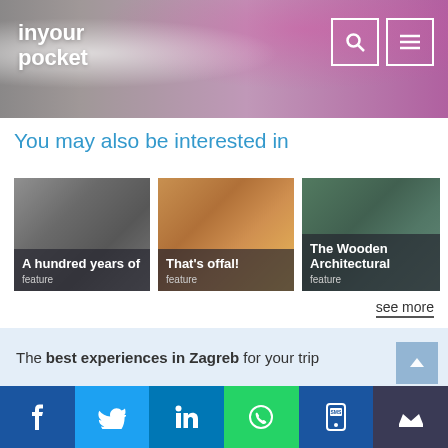inyour pocket
You may also be interested in
[Figure (photo): Card image 1 – wooden craft objects on grey background with title overlay 'A hundred years of' and label 'feature']
[Figure (photo): Card image 2 – bowl of curry with broccoli on warm background with title overlay 'That's offal!' and label 'feature']
[Figure (photo): Card image 3 – trees/wooden architecture in forest setting with title overlay 'The Wooden Architectural' and label 'feature']
see more
The best experiences in Zagreb for your trip